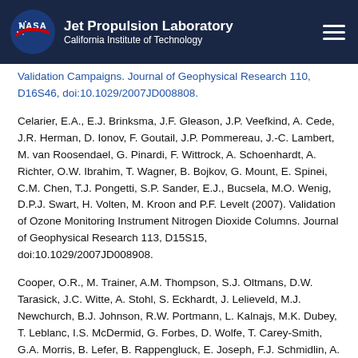Jet Propulsion Laboratory | California Institute of Technology
Validation Campaigns. Journal of Geophysical Research 110, D16S46, doi:10.1029/2007JD008808.
Celarier, E.A., E.J. Brinksma, J.F. Gleason, J.P. Veefkind, A. Cede, J.R. Herman, D. Ionov, F. Goutail, J.P. Pommereau, J.-C. Lambert, M. van Roosendael, G. Pinardi, F. Wittrock, A. Schoenhardt, A. Richter, O.W. Ibrahim, T. Wagner, B. Bojkov, G. Mount, E. Spinei, C.M. Chen, T.J. Pongetti, S.P. Sander, E.J., Bucsela, M.O. Wenig, D.P.J. Swart, H. Volten, M. Kroon and P.F. Levelt (2007). Validation of Ozone Monitoring Instrument Nitrogen Dioxide Columns. Journal of Geophysical Research 113, D15S15, doi:10.1029/2007JD008908.
Cooper, O.R., M. Trainer, A.M. Thompson, S.J. Oltmans, D.W. Tarasick, J.C. Witte, A. Stohl, S. Eckhardt, J. Lelieveld, M.J. Newchurch, B.J. Johnson, R.W. Portmann, L. Kalnajs, M.K. Dubey, T. Leblanc, I.S. McDermid, G. Forbes, D. Wolfe, T. Carey-Smith, G.A. Morris, B. Lefer, B. Rappengluck, E. Joseph, F.J. Schmidlin, A. Ravishankara, J. Meagher, F.C.